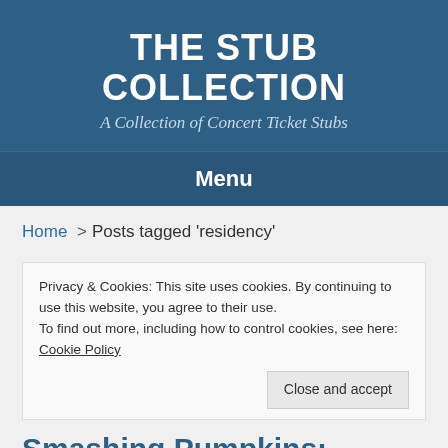THE STUB COLLECTION
A Collection of Concert Ticket Stubs
Menu
Home > Posts tagged 'residency'
Privacy & Cookies: This site uses cookies. By continuing to use this website, you agree to their use.
To find out more, including how to control cookies, see here: Cookie Policy
Close and accept
Smashing Pumpkins: